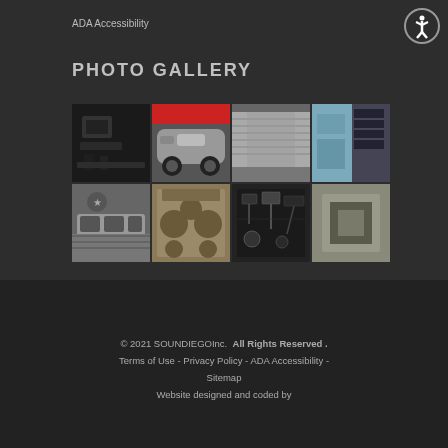ADA Accessibility
PHOTO GALLERY
[Figure (photo): Photo gallery grid of 8 car audio/installation photos arranged in 2 rows of 4]
© 2021 SOUNDIEGOInc. All Rights Reserved . Terms of Use - Privacy Policy - ADA Accessibility - Sitemap Website designed and coded by